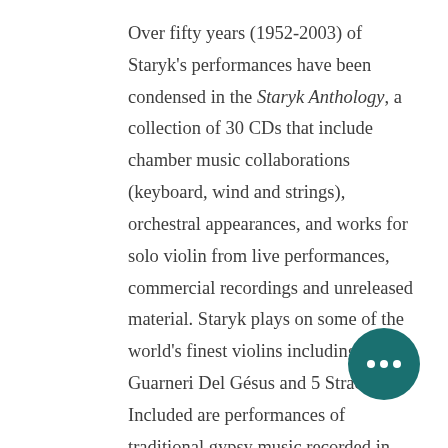Over fifty years (1952-2003) of Staryk's performances have been condensed in the Staryk Anthology, a collection of 30 CDs that include chamber music collaborations (keyboard, wind and strings), orchestral appearances, and works for solo violin from live performances, commercial recordings and unreleased material. Staryk plays on some of the world's finest violins including 4 Guarneri Del Gésus and 5 Strads. Included are performances of traditional gypsy music recorded in 1958 and 1968 under his pseudonym Primas Stefan, and released the first time on CD as "Primas Stefan and the Royal Tziganes. "